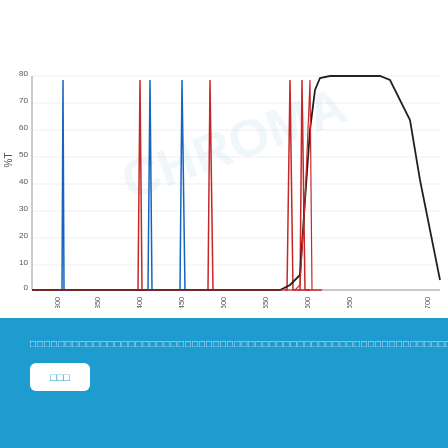[Figure (continuous-plot): Spectral transmission chart showing %T (percent transmission) on Y-axis from 0 to 80, and wavelength in nm on X-axis from 300 to 700. Multiple colored lines (blue, red, black) showing narrow bandpass filter transmission curves at various wavelengths across visible spectrum.]
Show: Transmission | Optical Density
Add to Compare
Overview
[Figure (infographic): Three icon buttons: a sun/light icon on dark blue-gray background, 'ET' text on golden-brown background, and dual LED icon on dark brown background]
Cookie notice text and button at bottom of page